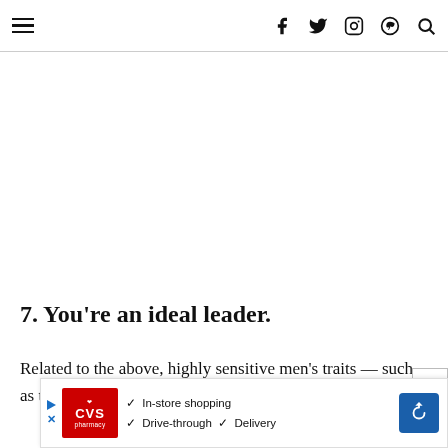≡   f  𝕏  ◎  ⊕  🔍
7. You're an ideal leader.
Related to the above, highly sensitive men's traits — such as their perceptiveness and attention to deta… g in
[Figure (screenshot): CVS pharmacy advertisement banner showing In-store shopping, Drive-through, and Delivery checkmarks with a blue navigation arrow icon]